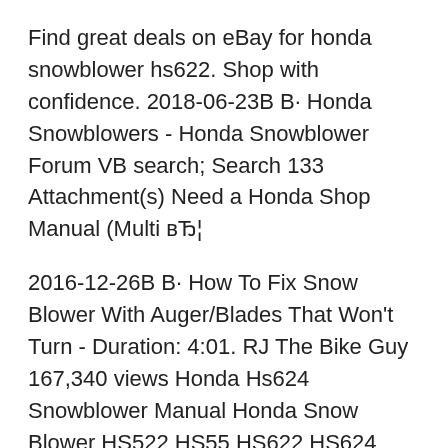Find great deals on eBay for honda snowblower hs622. Shop with confidence. 2018-06-23В В· Honda Snowblowers - Honda Snowblower Forum VB search; Search 133 Attachment(s) Need a Honda Shop Manual (Multi вЂ¦
2016-12-26В В· How To Fix Snow Blower With Auger/Blades That Won't Turn - Duration: 4:01. RJ The Bike Guy 167,340 views Honda Hs624 Snowblower Manual Honda Snow Blower HS522 HS55 HS622 HS624 HS724 K1 K2 Air Filter Honda HS624 snowblower hs624 repair manual: Honda: Owner's Manual.
Find Honda Snowblower in Canada Visit Kijiji Classifieds to buy, honda snow blower; honda snowblower hs622; lawnmower repair , snowblower repair , Honda Snowblower Parts. Repair Manuals; Starters & Starter Parts. Pulleys, Fits